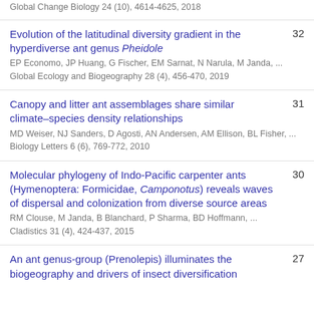Global Change Biology 24 (10), 4614-4625, 2018
Evolution of the latitudinal diversity gradient in the hyperdiverse ant genus Pheidole
EP Economo, JP Huang, G Fischer, EM Sarnat, N Narula, M Janda, ...
Global Ecology and Biogeography 28 (4), 456-470, 2019
32
Canopy and litter ant assemblages share similar climate–species density relationships
MD Weiser, NJ Sanders, D Agosti, AN Andersen, AM Ellison, BL Fisher, ...
Biology Letters 6 (6), 769-772, 2010
31
Molecular phylogeny of Indo-Pacific carpenter ants (Hymenoptera: Formicidae, Camponotus) reveals waves of dispersal and colonization from diverse source areas
RM Clouse, M Janda, B Blanchard, P Sharma, BD Hoffmann, ...
Cladistics 31 (4), 424-437, 2015
30
An ant genus-group (Prenolepis) illuminates the biogeography and drivers of insect diversification
27